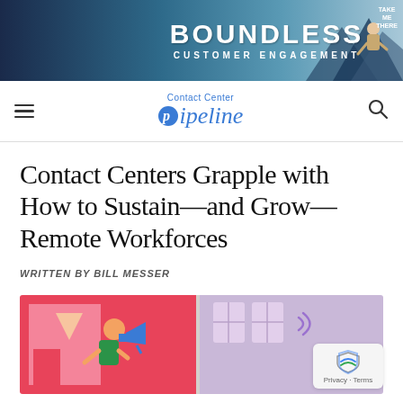[Figure (illustration): Verint 'Boundless Customer Engagement' banner advertisement with dark blue left panel showing Verint logo and tagline, center showing 'BOUNDLESS CUSTOMER ENGAGEMENT' text, and mountain/person silhouette on right side against sky background.]
Contact Center Pipeline
Contact Centers Grapple with How to Sustain—and Grow—Remote Workforces
WRITTEN BY BILL MESSER
[Figure (illustration): Colorful illustration showing remote workers: left panel with pink/red background showing a person with megaphone and colorful geometric shapes, right panel with purple/lavender background showing a person near windows with sound waves, and another figure at bottom right.]